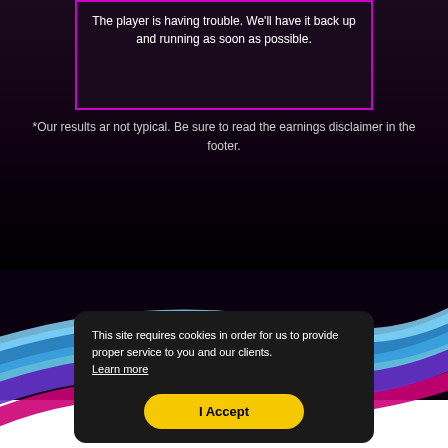The player is having trouble. We'll have it back up and running as soon as possible.
*Our results ar not typical. Be sure to read the earnings disclaimer in the footer.
This site requires cookies in order for us to provide proper service to you and our clients. Learn more
I Accept